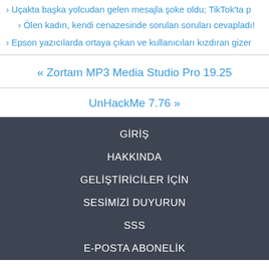› Uçakta başka yolcudan gelen mesajla şoke oldu; TikTok'ta p
› Ölen kadın, kendi cenazesinde sorulan soruları cevapladı!
› Epson yazıcılarda ortaya çıkan ve kullanıcıları kızdıran gizer
« Zortam MP3 Media Studio Pro 19.25
UnHackMe 7.76 »
GİRİŞ
HAKKINDA
GELİŞTİRİCİLER İÇİN
SESİMİZİ DUYURUN
SSS
E-POSTA ABONELİK